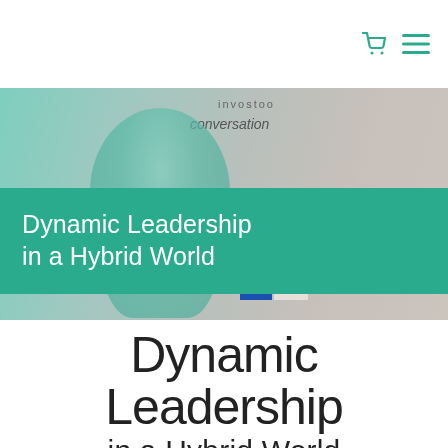[cart icon] [menu icon]
[Figure (photo): Hero banner image showing a person presenting at a conference or event, with text overlays 'invostoo', 'conversation', and 'Inspired thinking'. A teal/green banner overlays the image with the title 'Dynamic Leadership in a Hybrid World'.]
Dynamic Leadership in a Hybrid World
Dynamic Leadership in a Hybrid World